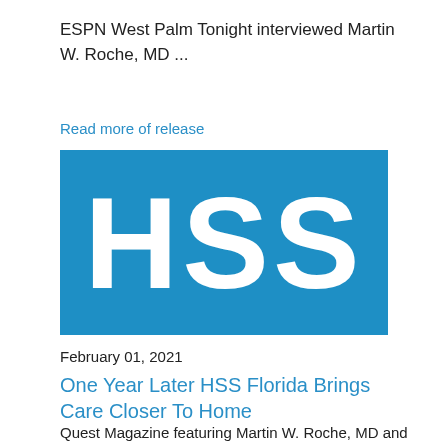ESPN West Palm Tonight interviewed Martin W. Roche, MD ...
Read more of release
[Figure (logo): HSS (Hospital for Special Surgery) logo — white bold letters 'HSS' on a blue background]
February 01, 2021
One Year Later HSS Florida Brings Care Closer To Home
Quest Magazine featuring Martin W. Roche, MD and John L. Wang, MD ...